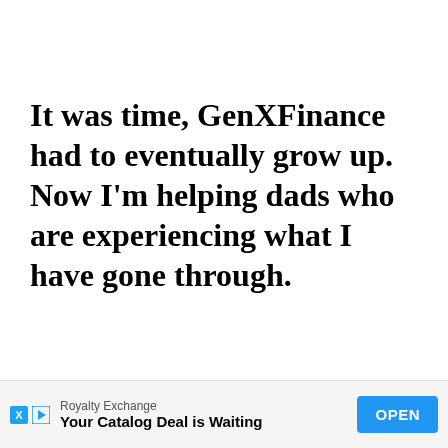It was time, GenXFinance had to eventually grow up. Now I'm helping dads who are experiencing what I have gone through.
Royalty Exchange — Your Catalog Deal is Waiting — OPEN